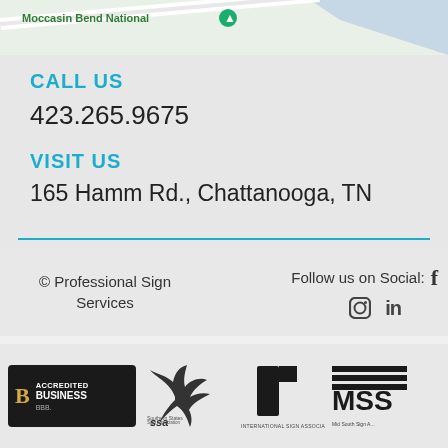[Figure (map): Partial Google Maps view showing Moccasin Bend National area with green and blue regions]
CALL US
423.265.9675
VISIT US
165 Hamm Rd., Chattanooga, TN
© Professional Sign Services   Follow us on Social: [Facebook] [Instagram] [LinkedIn]
[Figure (logo): BBB Accredited Business logo]
[Figure (logo): SSA Southern States Sign Association logo]
[Figure (logo): International Sign Association logo]
[Figure (logo): Mid South Sign Association logo (partially visible)]